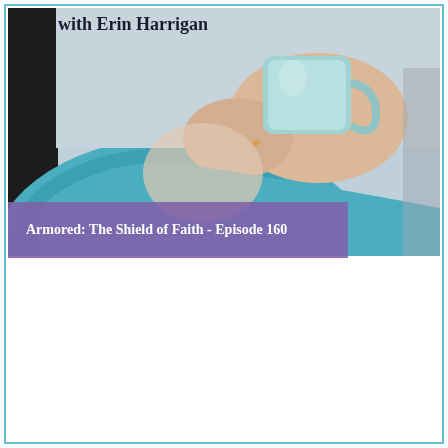with Erin Harrigan
[Figure (photo): Woman in teal sweater holding a light blue/teal mug up near her face, photographed from below chin level. Dark panel on the left side. Warm skin-toned hands visible holding the mug.]
Armored:  The Shield of Faith - Episode 160